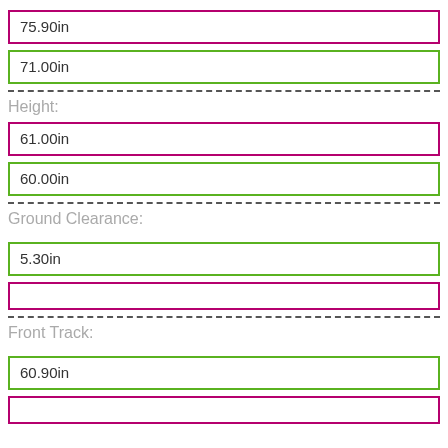75.90in
71.00in
Height:
61.00in
60.00in
Ground Clearance:
5.30in
Front Track:
60.90in